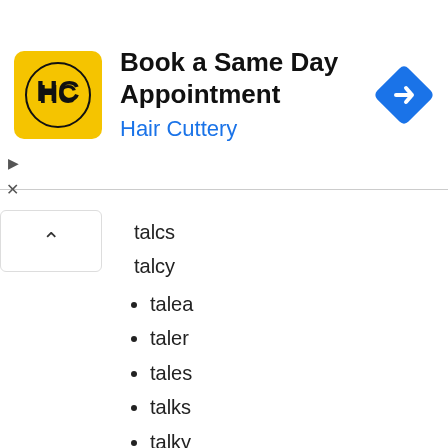[Figure (other): Hair Cuttery advertisement banner with logo and navigation arrow icon. Text: Book a Same Day Appointment / Hair Cuttery]
talcs
talcy
talea
taler
tales
talks
talky
talls
tally
talma
talon
talpa
taluk
talus
telae
telco
teles
telex
telia
telic